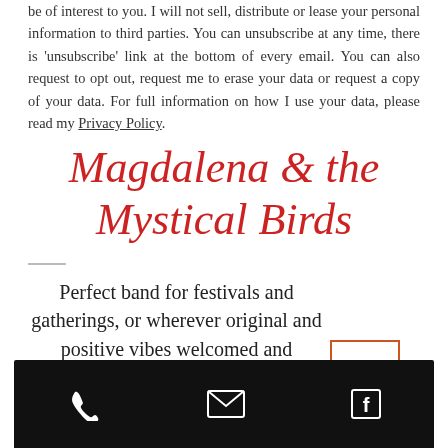be of interest to you. I will not sell, distribute or lease your personal information to third parties. You can unsubscribe at any time, there is 'unsubscribe' link at the bottom of every email. You can also request to opt out, request me to erase your data or request a copy of your data. For full information on how I use your data, please read my Privacy Policy.
Magdalena & the Mystical Birds
Perfect band for festivals and gatherings, or wherever original and positive vibes welcomed and appreciated
[Figure (other): Back to top button with upward chevron arrow, orange border]
[Figure (other): Black footer navigation bar with phone, email, and Facebook icons in white]